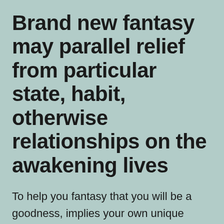Brand new fantasy may parallel relief from particular state, habit, otherwise relationships on the awakening lives
To help you fantasy that you will be a goodness, implies your own unique speciality which you have not yet recognized otherwise have not completely create. Instead, it indicates your feelings from quality more than other people. Do you really believe you're